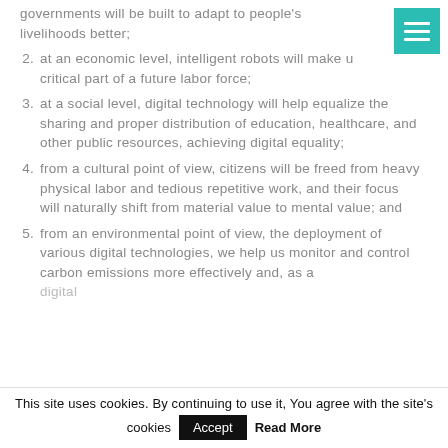governments will be built to adapt to peoples livelihoods better;
2. at an economic level, intelligent robots will make up a critical part of a future labor force;
3. at a social level, digital technology will help equalize the sharing and proper distribution of education, healthcare, and other public resources, achieving digital equality;
4. from a cultural point of view, citizens will be freed from heavy physical labor and tedious repetitive work, and their focus will naturally shift from material value to mental value; and
5. from an environmental point of view, the deployment of various digital technologies, we help us monitor and control carbon emissions more effectively and, as a digital...
This site uses cookies. By continuing to use it, You agree with the site's cookies  Accept  Read More